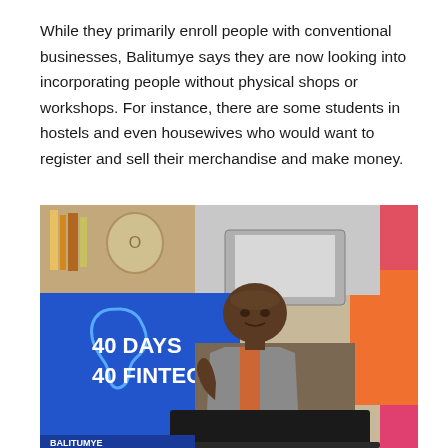While they primarily enroll people with conventional businesses, Balitumye says they are now looking into incorporating people without physical shops or workshops. For instance, there are some students in hostels and even housewives who would want to register and sell their merchandise and make money.
[Figure (photo): A man seated at a desk with a laptop in front of him, speaking or gesturing with his hand, in front of a blue banner reading '40 DAYS 40 FINTECHS' with an Africa continent outline logo, and a pink/orange rollup banner behind him.]